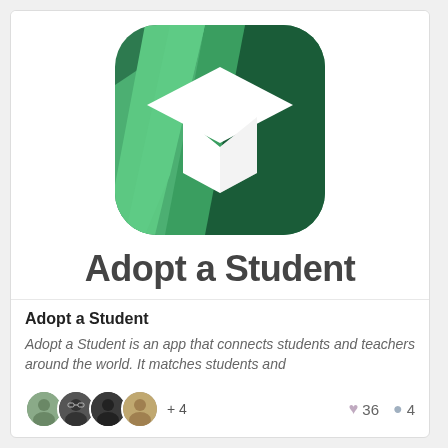[Figure (logo): Adopt a Student app icon: rounded square with green diagonal stripe pattern, white graduation cap (mortarboard) in center]
Adopt a Student
Adopt a Student
Adopt a Student is an app that connects students and teachers around the world. It matches students and
+ 4   ♥ 36  ● 4